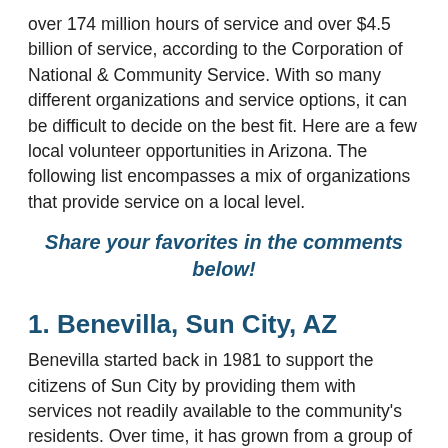over 174 million hours of service and over $4.5 billion of service, according to the Corporation of National & Community Service. With so many different organizations and service options, it can be difficult to decide on the best fit. Here are a few local volunteer opportunities in Arizona. The following list encompasses a mix of organizations that provide service on a local level.
Share your favorites in the comments below!
1. Benevilla, Sun City, AZ
Benevilla started back in 1981 to support the citizens of Sun City by providing them with services not readily available to the community's residents. Over time, it has grown from a group of 30 volunteers to a group of